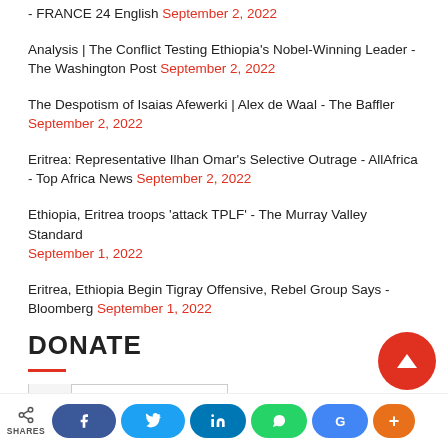- FRANCE 24 English September 2, 2022
Analysis | The Conflict Testing Ethiopia's Nobel-Winning Leader - The Washington Post September 2, 2022
The Despotism of Isaias Afewerki | Alex de Waal - The Baffler September 2, 2022
Eritrea: Representative Ilhan Omar's Selective Outrage - AllAfrica - Top Africa News September 2, 2022
Ethiopia, Eritrea troops 'attack TPLF' - The Murray Valley Standard September 1, 2022
Eritrea, Ethiopia Begin Tigray Offensive, Rebel Group Says - Bloomberg September 1, 2022
DONATE
SHARES | Facebook | Twitter | LinkedIn | WhatsApp | Google | More